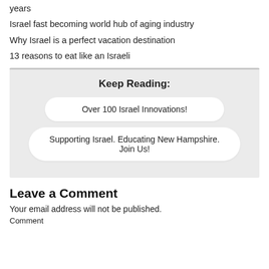years
Israel fast becoming world hub of aging industry
Why Israel is a perfect vacation destination
13 reasons to eat like an Israeli
Keep Reading:
Over 100 Israel Innovations!
Supporting Israel. Educating New Hampshire. Join Us!
Leave a Comment
Your email address will not be published.
Comment